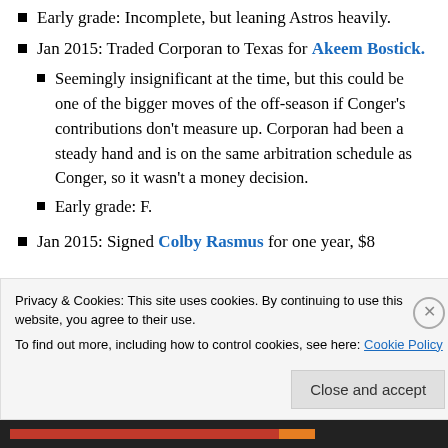Early grade: Incomplete, but leaning Astros heavily.
Jan 2015: Traded Corporan to Texas for Akeem Bostick.
Seemingly insignificant at the time, but this could be one of the bigger moves of the off-season if Conger's contributions don't measure up. Corporan had been a steady hand and is on the same arbitration schedule as Conger, so it wasn't a money decision.
Early grade: F.
Jan 2015: Signed Colby Rasmus for one year, $8
Privacy & Cookies: This site uses cookies. By continuing to use this website, you agree to their use. To find out more, including how to control cookies, see here: Cookie Policy